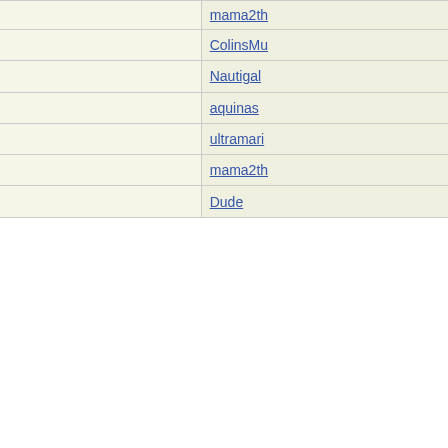| Subject | Author |
| --- | --- |
| brag-so-much-as-quirky-anecdote thread | mama2th |
| Re: Not-really-brag-so-much-as-quirky-anecdote thread | ColinsMu |
| Re: Not-really-brag-so-much-as-quirky-anecdote thread | Nautigal |
| Re: Not-really-brag-so-much-as-quirky-anecdote thread | aquinas |
| Re: Not-really-brag-so-much-as-quirky-anecdote thread | ultramari |
| Re: Not-really-brag-so-much-as-quirky-anecdote thread | mama2th |
| Re: Not-really-brag-so-much-as-quirky-anecdote thread | Dude |